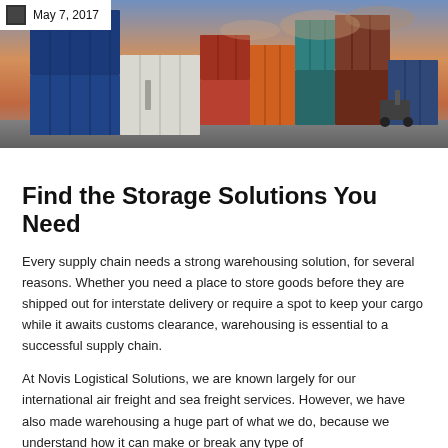[Figure (photo): Photo of stacked shipping containers in various colors (blue, white, red, green, teal, orange, brown) at a port or freight yard with a forklift visible and a dramatic sunset sky in the background.]
May 7, 2017
Find the Storage Solutions You Need
Every supply chain needs a strong warehousing solution, for several reasons. Whether you need a place to store goods before they are shipped out for interstate delivery or require a spot to keep your cargo while it awaits customs clearance, warehousing is essential to a successful supply chain.
At Novis Logistical Solutions, we are known largely for our international air freight and sea freight services. However, we have also made warehousing a huge part of what we do, because we understand how it can make or break any type of